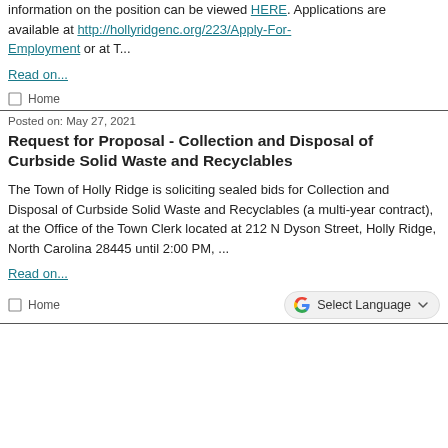information on the position can be viewed HERE. Applications are available at http://hollyridgenc.org/223/Apply-For-Employment or at T...
Read on...
Home
Posted on: May 27, 2021
Request for Proposal - Collection and Disposal of Curbside Solid Waste and Recyclables
The Town of Holly Ridge is soliciting sealed bids for Collection and Disposal of Curbside Solid Waste and Recyclables (a multi-year contract), at the Office of the Town Clerk located at 212 N Dyson Street, Holly Ridge, North Carolina 28445 until 2:00 PM, ...
Read on...
Home
Select Language